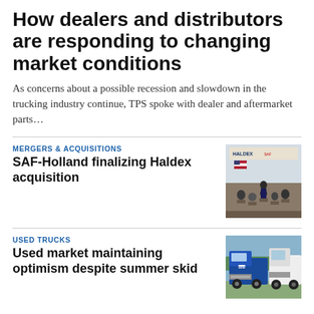How dealers and distributors are responding to changing market conditions
As concerns about a possible recession and slowdown in the trucking industry continue, TPS spoke with dealer and aftermarket parts…
MERGERS & ACQUISITIONS
SAF-Holland finalizing Haldex acquisition
[Figure (photo): Indoor event photo showing people seated in an industrial warehouse/facility with an American flag and signage visible including Haldex branding.]
USED TRUCKS
Used market maintaining optimism despite summer skid
[Figure (photo): Outdoor photo of commercial semi trucks including a blue Freightliner and a white Kenworth parked in a lot.]